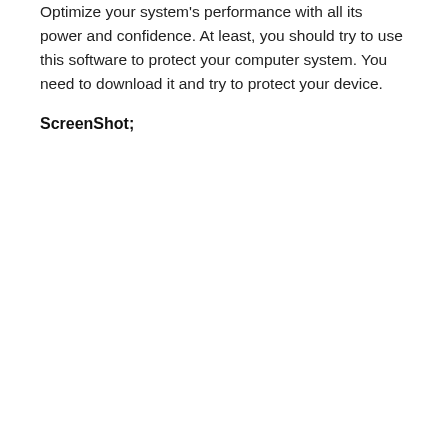Optimize your system's performance with all its power and confidence. At least, you should try to use this software to protect your computer system. You need to download it and try to protect your device.
ScreenShot;